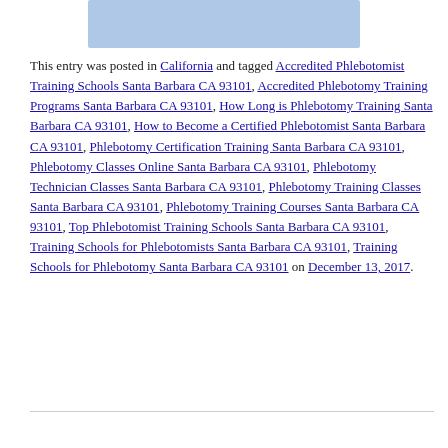[Figure (other): Blue/grey colored image block at top of page]
This entry was posted in California and tagged Accredited Phlebotomist Training Schools Santa Barbara CA 93101, Accredited Phlebotomy Training Programs Santa Barbara CA 93101, How Long is Phlebotomy Training Santa Barbara CA 93101, How to Become a Certified Phlebotomist Santa Barbara CA 93101, Phlebotomy Certification Training Santa Barbara CA 93101, Phlebotomy Classes Online Santa Barbara CA 93101, Phlebotomy Technician Classes Santa Barbara CA 93101, Phlebotomy Training Classes Santa Barbara CA 93101, Phlebotomy Training Courses Santa Barbara CA 93101, Top Phlebotomist Training Schools Santa Barbara CA 93101, Training Schools for Phlebotomists Santa Barbara CA 93101, Training Schools for Phlebotomy Santa Barbara CA 93101 on December 13, 2017.